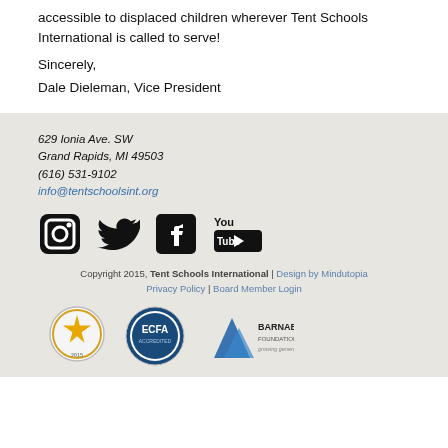Thank you for your continued support in making learning accessible to displaced children wherever Tent Schools International is called to serve!
Sincerely,
Dale Dieleman, Vice President
629 Ionia Ave. SW
Grand Rapids, MI 49503
(616) 531-9102
info@tentschoolsint.org
[Figure (logo): Social media icons: Instagram, Twitter, Facebook, YouTube]
Copyright 2015, Tent Schools International | Design by Mindutopia
Privacy Policy | Board Member Login
[Figure (logo): GuideStar Gold Transparency badge, ECFA Accredited badge, Barnabas Foundation giving potential badge]